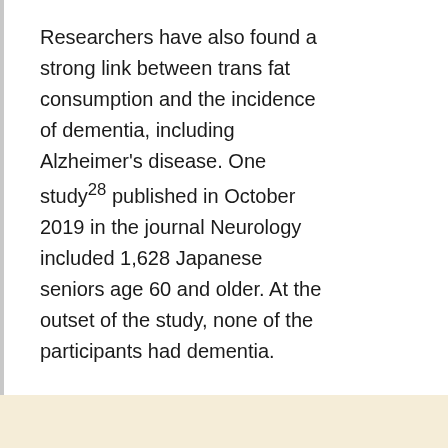Researchers have also found a strong link between trans fat consumption and the incidence of dementia, including Alzheimer's disease. One study28 published in October 2019 in the journal Neurology included 1,628 Japanese seniors age 60 and older. At the outset of the study, none of the participants had dementia.